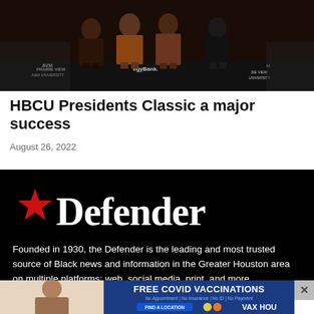[Figure (photo): Photo of people standing in front of a backdrop with Prairie View A&M University and StrategyBank logos]
HBCU Presidents Classic a major success
August 26, 2022
[Figure (logo): Defender newspaper logo — red star followed by 'Defender' in bold serif white text on black background]
Founded in 1930, the Defender is the leading and most trusted source of Black news and information in the Greater Houston area on multiple platforms: web, social media, print, and more.
[Figure (infographic): Free COVID Vaccinations advertisement banner — blue background with woman's photo, text: FREE COVID VACCINATIONS, No Appointment | No Insurance | No ID | No Payment, FIND A LOCATION button, VAX HOU logo]